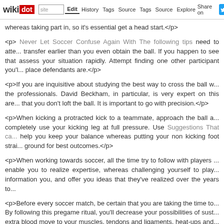wikidot | site | Edit | History | Tags | Source | Tags | Source | Explore | Share on [Twitter]
whereas taking part in, so it's essential get a head start.</p>

<p> Never Let Soccer Confuse Again With The following tips need to atte... transfer earlier than you even obtain the ball. If you happen to see that assess your situation rapidly. Attempt finding one other participant you'l... place defendants are.</p>

<p>If you are inquisitive about studying the best way to cross the ball w... the professionals. David Beckham, in particular, is very expert on this are... that you don't loft the ball. It is important to go with precision.</p>

<p>When kicking a protracted kick to a teammate, approach the ball a... completely use your kicking leg at full pressure. Use Suggestions That ca... help you keep your balance whereas putting your non kicking foot strai... ground for best outcomes.</p>

<p>When working towards soccer, all the time try to follow with players ... enable you to realize expertise, whereas challenging yourself to play... information you, and offer you ideas that they've realized over the years to...</p>

<p>Before every soccer match, be certain that you are taking the time to... By following this pregame ritual, you'll decrease your possibilities of sust... extra blood move to your muscles, tendons and ligaments, heat-ups and... Wish to Develop into A greater Soccer Player? Read The following tips! o... workouts.</p>

<p>Now that you have learned the way you can assist enhance your soc... the guidelines that have been described. Remember all the pieces y... knowledge with daily follow. What You need to Know About the World Of...